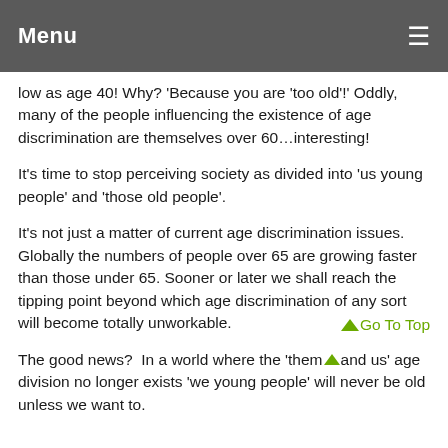Menu
low as age 40! Why? 'Because you are 'too old'!' Oddly, many of the people influencing the existence of age discrimination are themselves over 60…interesting!
It's time to stop perceiving society as divided into 'us young people' and 'those old people'.
It's not just a matter of current age discrimination issues.  Globally the numbers of people over 65 are growing faster than those under 65. Sooner or later we shall reach the tipping point beyond which age discrimination of any sort will become totally unworkable.
The good news?  In a world where the 'them and us' age division no longer exists 'we young people' will never be old unless we want to.